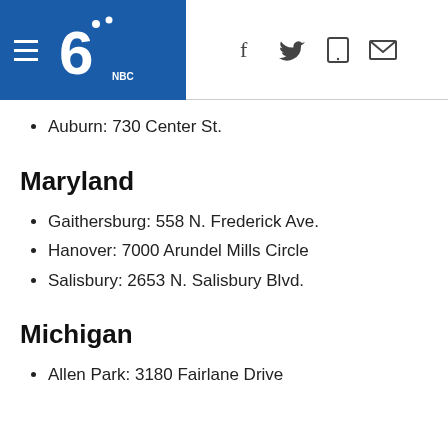NBC 6 | navigation header with hamburger menu, NBC6 logo, Facebook, Twitter, mobile, and email icons
Auburn: 730 Center St.
Maryland
Gaithersburg: 558 N. Frederick Ave.
Hanover: 7000 Arundel Mills Circle
Salisbury: 2653 N. Salisbury Blvd.
Michigan
Allen Park: 3180 Fairlane Drive